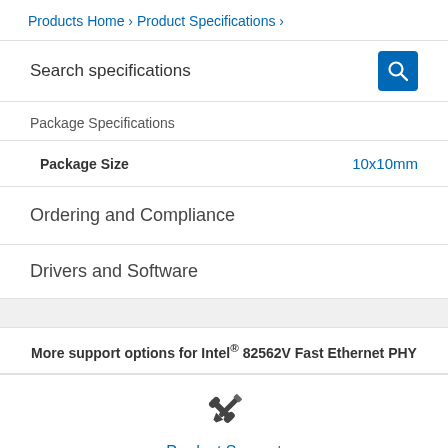Products Home › Product Specifications ›
Search specifications
Package Specifications
|  |  |
| --- | --- |
| Package Size | 10x10mm |
Ordering and Compliance
Drivers and Software
More support options for Intel® 82562V Fast Ethernet PHY
[Figure (illustration): Crossed wrench and screwdriver tools icon]
Product Support